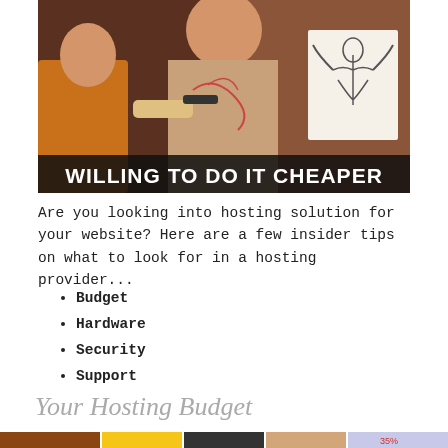[Figure (photo): A tattoo artist applying a tattoo design to a man's back, with a reference drawing of a winged figure visible on the right. Black banner overlay at bottom reads WILLING TO DO IT CHEAPER.]
Are you looking into hosting solution for your website? Here are a few insider tips on what to look for in a hosting provider...
Budget
Hardware
Security
Support
Your Hosting Budget
[Figure (photo): Partial view of a collage of images at the bottom of the page, partially cropped.]